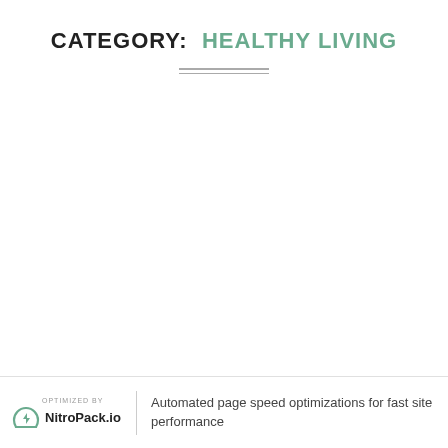CATEGORY:  HEALTHY LIVING
OPTIMIZED BY NitroPack.io | Automated page speed optimizations for fast site performance